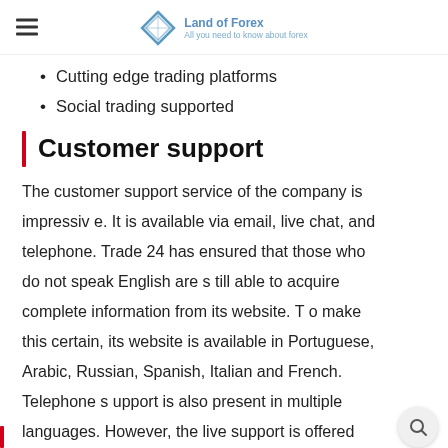Land of Forex — All you need to know about forex
Cutting edge trading platforms
Social trading supported
Customer support
The customer support service of the company is impressive. It is available via email, live chat, and telephone. Trade 24 has ensured that those who do not speak English are still able to acquire complete information from its website. To make this certain, its website is available in Portuguese, Arabic, Russian, Spanish, Italian and French. Telephone support is also present in multiple languages. However, the live support is offered only during the trading week.